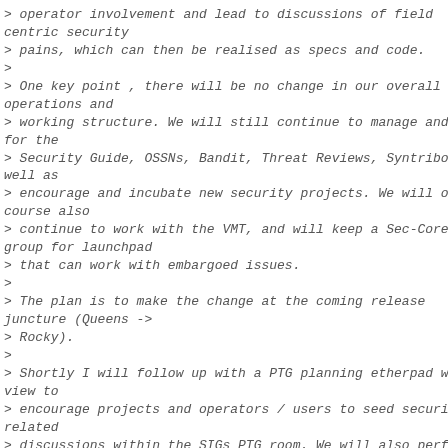> operator involvement and lead to discussions of field centric security
> pains, which can then be realised as specs and code.
>
> One key point , there will be no change in our overall operations and
> working structure. We will still continue to manage and care for the
> Security Guide, OSSNs, Bandit, Threat Reviews, Syntribos as well as
> encourage and incubate new security projects. We will of course also
> continue to work with the VMT, and will keep a Sec-Core group for launchpad
> that can work with embargoed issues.
>
> The plan is to make the change at the coming release juncture (Queens ->
> Rocky).
>
> Shortly I will follow up with a PTG planning etherpad with a view to
> encourage projects and operators / users to seed security related
> discussions within the SIGs PTG room. We will also perform
an a/Security